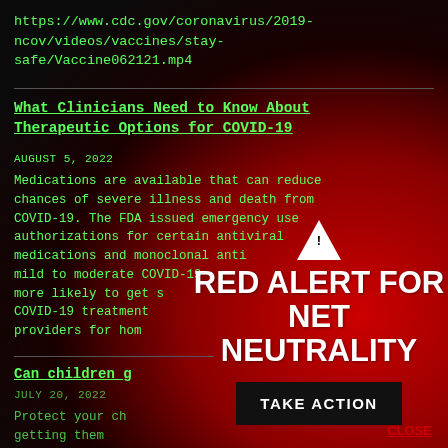https://www.cdc.gov/coronavirus/2019-ncov/videos/vaccines/stay-safe/Vaccine062121.mp4
What Clinicians Need to Know About Therapeutic Options for COVID-19
AUGUST 5, 2022
Medications are available that can reduce chances of severe illness and death from COVID-19. The FDA issued emergency use authorizations for certain antiviral medications and monoclonal anti- mild to moderate COVID-19 more likely to get s COVID-19 treatment providers for hom
Can children g
JULY 20, 2022
Protect your ch getting them
[Figure (infographic): Red Alert for Net Neutrality overlay with warning triangle icon, bold white text 'RED ALERT FOR NET NEUTRALITY', black button 'TAKE ACTION', and red 'CLOSE' link]